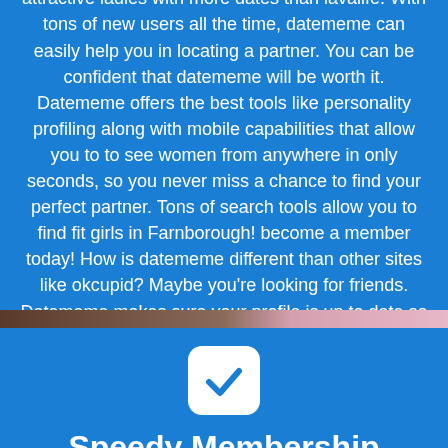Datememe is the largest dating site for meeting attractive ladies with more dates than lavalife. With tons of new users all the time, datememe can easily help you in locating a partner. You can be confident that datememe will be worth it. Datememe offers the best tools like personality profiling along with mobile capabilities that allow you to to see women from anywhere in only seconds, so you never miss a chance to find your perfect partner. Tons of search tools allow you to find fit girls in Farnborough! become a member today! How is datememe different than other sites like okcupid? Maybe you're looking for friends. Datememe makes sure your profile is up to date so you can find well-suited smart guys.
[Figure (illustration): A white rounded-corner checkbox icon with a blue checkmark on a blue background]
Speedy Membership